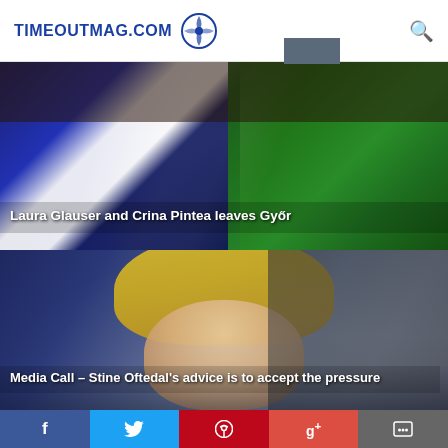TIMEOUTMAG.COM
[Figure (photo): Two handball players in action — one in blue jersey, one in green. Laura Glauser and Crina Pintea.]
Laura Glauser and Crina Pintea leaves Győr
[Figure (photo): Blonde woman smiling at media call. Stine Oftedal.]
Media Call – Stine Oftedal's advice is to accept the pressure
[Figure (photo): Two golden EHF Champions League trophy sculptures on gray background.]
Semifinals for EHF CHAMPIONS LEAGUE Final4 Men are ready
f  Twitter  Pinterest  g+  Comment